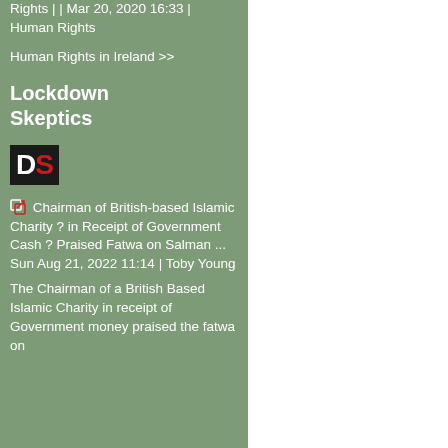Rights | | Mar 20, 2020 16:33 | Human Rights
Human Rights in Ireland >>
Lockdown Skeptics
[Figure (logo): Lockdown Skeptics DS logo — black background with white D and red S letters]
Chairman of British-based Islamic Charity ? in Receipt of Government Cash ? Praised Fatwa on Salman ... Sun Aug 21, 2022 11:14 | Toby Young
The Chairman of a British Based Islamic Charity in receipt of Government money praised the fatwa on